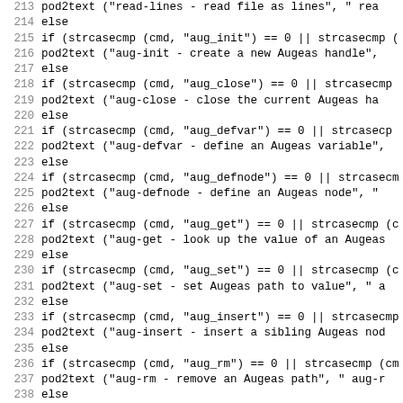[Figure (screenshot): Source code listing showing C code lines 213-244 with line numbers on the left. The code contains a series of if/else blocks using strcasecmp to match command strings like aug_init, aug_close, aug_defvar, aug_defnode, aug_get, aug_set, aug_insert, aug_rm, aug_mv, aug_match, and calls pod2text with corresponding help strings.]